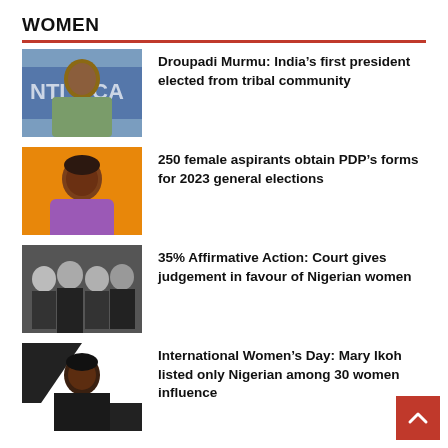WOMEN
Droupadi Murmu: India’s first president elected from tribal community
250 female aspirants obtain PDP’s forms for 2023 general elections
35% Affirmative Action: Court gives judgement in favour of Nigerian women
International Women’s Day: Mary Ikoh listed only Nigerian among 30 women influence